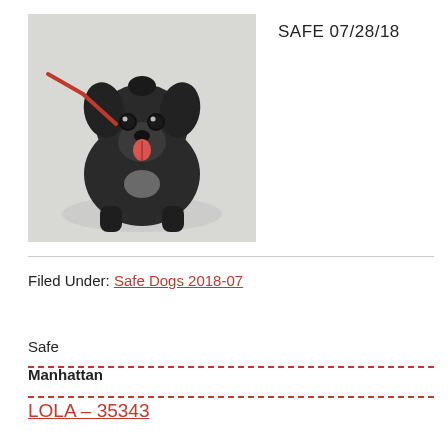[Figure (photo): A small black dog with a red leash, looking at the camera with its tongue out, sitting on a light-colored floor.]
SAFE 07/28/18
Filed Under: Safe Dogs 2018-07
Safe
Manhattan
LOLA – 35343